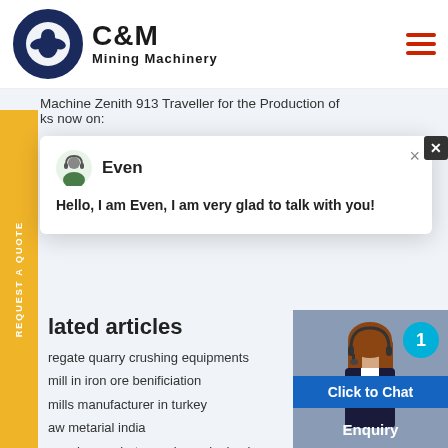C&M Mining Machinery
Machine Zenith 913 Traveller for the Production of ks now on:
[Figure (screenshot): Chat popup with agent named 'Even' saying: Hello, I am Even, I am very glad to talk with you!]
lated articles
regate quarry crushing equipments
mill in iron ore benificiation
mills manufacturer in turkey
aw metarial india
penghancur batu mesin penjualan kenya
stone crusher mfg in rajasthan
bench grinder for sale philippines
gold mining equipment in ghan
stone curesher machine
[Figure (photo): Woman with headset, click to chat button, enquiry label, notification badge showing 1]